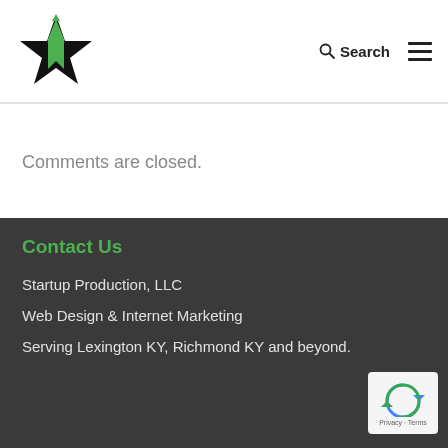[Figure (logo): Black star with green upward arrow/bookmark shape in the center, company logo]
Search
Comments are closed.
Contact Us
Startup Production, LLC
Web Design & Internet Marketing
Serving Lexington KY, Richmond KY and beyond.
[Figure (logo): reCAPTCHA badge with Privacy and Terms links]